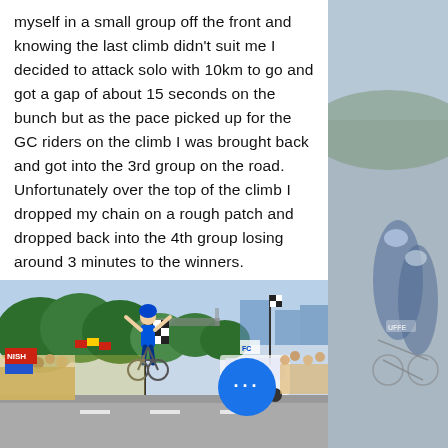myself in a small group off the front and knowing the last climb didn't suit me I decided to attack solo with 10km to go and got a gap of about 15 seconds on the bunch but as the pace picked up for the GC riders on the climb I was brought back and got into the 3rd group on the road. Unfortunately over the top of the climb I dropped my chain on a rough patch and dropped back into the 4th group losing around 3 minutes to the winners.
[Figure (photo): A cycling race finish scene with a cyclist raising their arms at the finish line, surrounded by crowds and a checkered flag. A blue circular button with three dots is overlaid on the lower right portion of the image.]
[Figure (photo): Faded background photo on the right side of the page showing cyclists in blue jerseys racing.]